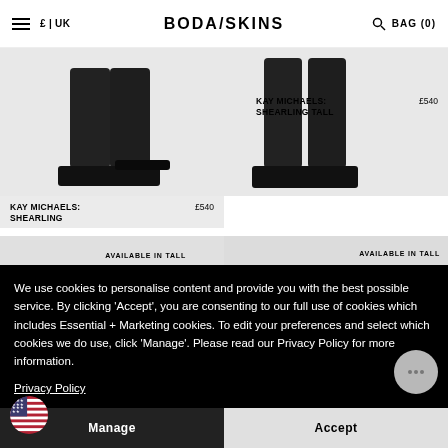≡  £ | UK   BODA/SKINS   🔍 BAG (0)
[Figure (photo): Product photo of Kay Michaels Shearling boots, left column]
KAY MICHAELS: SHEARLING    £540
[Figure (photo): Product photo of Kay Michaels Shearling Tall, right column, partially cropped]
KAY MICHAELS: SHEARLING TALL    £540
[Figure (photo): Male model wearing black leather jacket, AVAILABLE IN TALL badge, bottom left]
[Figure (photo): Black leather jacket product shot, AVAILABLE IN TALL, 20% OFF badge, bottom right]
We use cookies to personalise content and provide you with the best possible service. By clicking 'Accept', you are consenting to our full use of cookies which includes Essential + Marketing cookies. To edit your preferences and select which cookies we do use, click 'Manage'. Please read our Privacy Policy for more information.
Privacy Policy
Manage
Accept